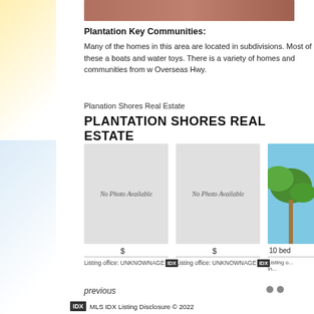[Figure (photo): Top partial image of a red brick exterior — cropped at top of page]
Plantation Key Communities:
Many of the homes in this area are located in subdivisions. Most of these a... boats and water toys. There is a variety of homes and communities from w... Overseas Hwy.
Planation Shores Real Estate
PLANTATION SHORES REAL ESTATE
[Figure (photo): No Photo Available placeholder card 1]
[Figure (photo): No Photo Available placeholder card 2]
[Figure (photo): Tropical palm tree photo — third listing card, partial]
$
$
10 bed...
Listing office: UNKNOWNAGE IDX
Listing office: UNKNOWNAGE IDX
Listing o... in...
previous
IDX  MLS IDX Listing Disclosure © 2022